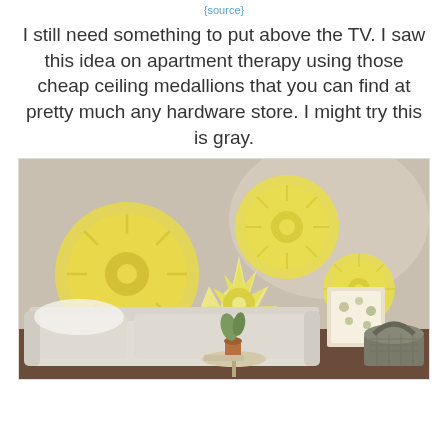{source}
I still need something to put above the TV. I saw this idea on apartment therapy using those cheap ceiling medallions that you can find at pretty much any hardware store. I might try this is gray.
[Figure (photo): A living room wall decorated with four yellow painted ceiling medallions of various sizes and shapes mounted as wall art. Below them is a light-colored sofa with a small round side table, a potted plant, a framed floral print, and a large woven basket on the floor.]